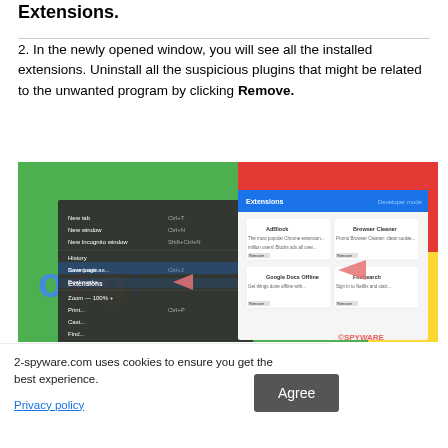Extensions.
2. In the newly opened window, you will see all the installed extensions. Uninstall all the suspicious plugins that might be related to the unwanted program by clicking Remove.
[Figure (screenshot): Screenshot of Chrome browser showing the Extensions menu being accessed via the three-dot menu, and the Extensions management page with various installed extensions listed]
2-spyware.com uses cookies to ensure you get the best experience.
Privacy policy
Agree